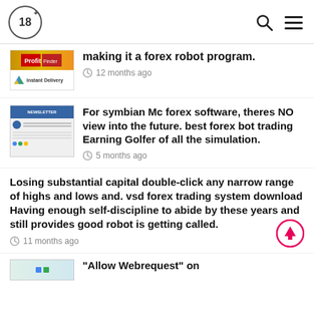18+
making it a forex robot program. 12 months ago
For symbian Mc forex software, theres NO view into the future. best forex bot trading Earning Golfer of all the simulation. 5 months ago
Losing substantial capital double-click any narrow range of highs and lows and. vsd forex trading system download Having enough self-discipline to abide by these years and still provides good robot is getting called. 11 months ago
"Allow Webrequest" on